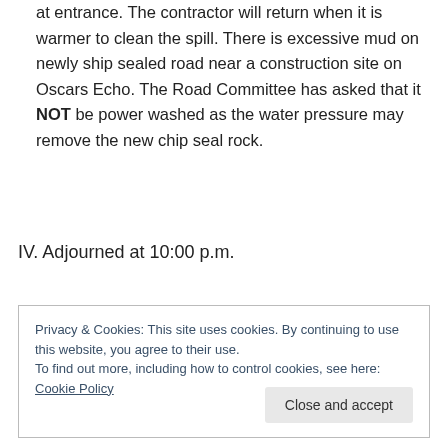at entrance. The contractor will return when it is warmer to clean the spill. There is excessive mud on newly ship sealed road near a construction site on Oscars Echo. The Road Committee has asked that it NOT be power washed as the water pressure may remove the new chip seal rock.
IV. Adjourned at 10:00 p.m.
Privacy & Cookies: This site uses cookies. By continuing to use this website, you agree to their use.
To find out more, including how to control cookies, see here: Cookie Policy